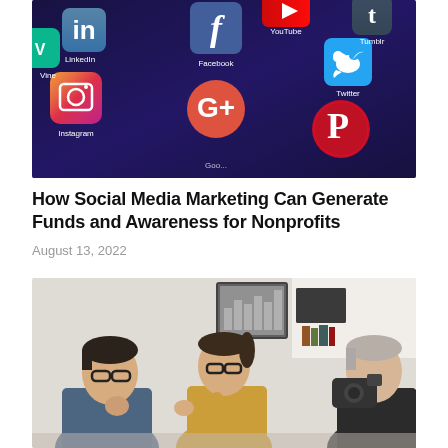[Figure (photo): Close-up photo of a smartphone screen showing social media app icons including LinkedIn, Facebook, Twitter, Instagram, Google+, Pinterest, Vine, YouTube, and Tumblr on a dark blue/purple background.]
How Social Media Marketing Can Generate Funds and Awareness for Nonprofits
August 13, 2022
[Figure (photo): Photo of three people in a meeting or discussion setting. A young man with glasses on the left, a woman in a mustard/yellow top with glasses in the center gesturing while speaking, and an older person on the right holding a camera.]